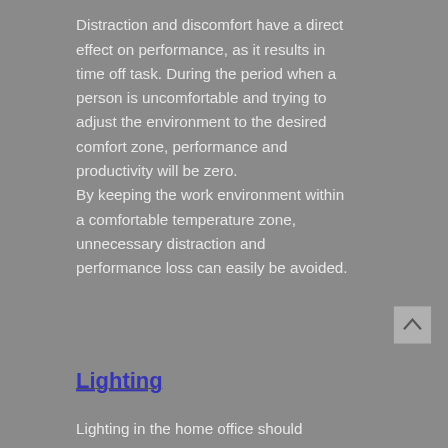Distraction and discomfort have a direct effect on performance, as it results in time off task. During the period when a person is uncomfortable and trying to adjust the environment to the desired comfort zone, performance and productivity will be zero. By keeping the work environment within a comfortable temperature zone, unnecessary distraction and performance loss can easily be avoided.
Lighting
Lighting in the home office should